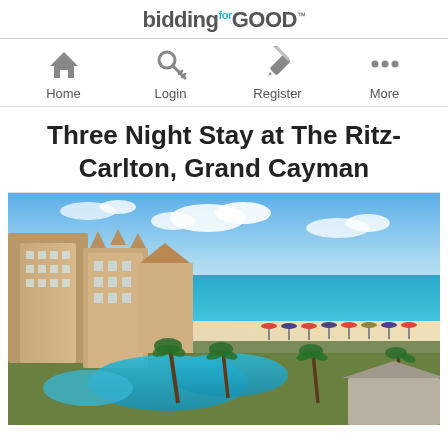biddingforGOOD
Home | Login | Register | More
Three Night Stay at The Ritz-Carlton, Grand Cayman
[Figure (photo): Aerial view of The Ritz-Carlton Grand Cayman resort showing swimming pools, palm trees, resort buildings, white sand beach, and turquoise Caribbean sea under a blue sky with clouds]